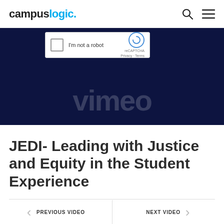campuslogic.
[Figure (screenshot): Vimeo video embed with reCAPTCHA overlay showing checkbox 'I'm not a robot' and reCAPTCHA branding, over a dark navy background with large Vimeo watermark text]
JEDI- Leading with Justice and Equity in the Student Experience
PREVIOUS VIDEO
NEXT VIDEO